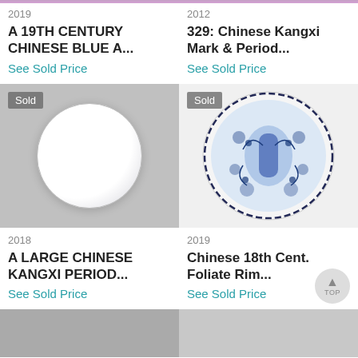2019
A 19TH CENTURY CHINESE BLUE A...
See Sold Price
2012
329: Chinese Kangxi Mark & Period...
See Sold Price
[Figure (photo): A white glazed Chinese porcelain plate/bowl on gray background, marked Sold]
[Figure (photo): A Chinese blue and white foliate rim plate with floral decoration, marked Sold]
2018
A LARGE CHINESE KANGXI PERIOD...
See Sold Price
2019
Chinese 18th Cent. Foliate Rim...
See Sold Price
[Figure (photo): Partial thumbnail of a dark ceramic item at bottom left]
[Figure (photo): Partial thumbnail of a light ceramic item at bottom right]